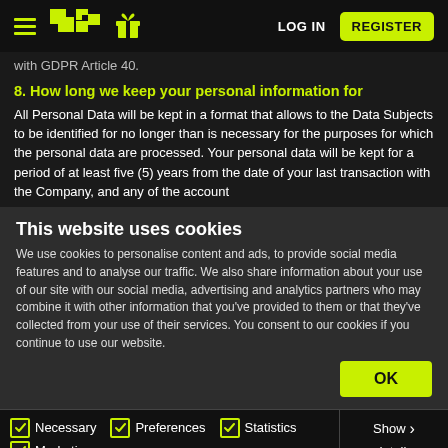[Figure (screenshot): Navigation bar with hamburger menu, PM logo, gift icon, LOG IN text, and yellow REGISTER button on dark background]
with GDPR Article 40.
8. How long we keep your personal information for
All Personal Data will be kept in a format that allows to the Data Subjects to be identified for no longer than is necessary for the purposes for which the personal data are processed. Your personal data will be kept for a period of at least five (5) years from the date of your last transaction with the Company, and any of the account
This website uses cookies
We use cookies to personalise content and ads, to provide social media features and to analyse our traffic. We also share information about your use of our site with our social media, advertising and analytics partners who may combine it with other information that you've provided to them or that they've collected from your use of their services. You consent to our cookies if you continue to use our website.
OK
Necessary  Preferences  Statistics  Marketing  Show details